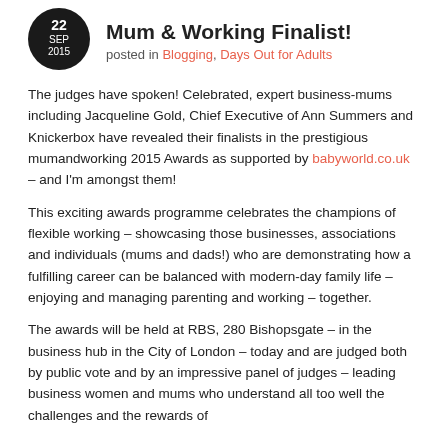Mum & Working Finalist!
posted in Blogging, Days Out for Adults
The judges have spoken! Celebrated, expert business-mums including Jacqueline Gold, Chief Executive of Ann Summers and Knickerbox have revealed their finalists in the prestigious mumandworking 2015 Awards as supported by babyworld.co.uk – and I'm amongst them!
This exciting awards programme celebrates the champions of flexible working – showcasing those businesses, associations and individuals (mums and dads!) who are demonstrating how a fulfilling career can be balanced with modern-day family life – enjoying and managing parenting and working – together.
The awards will be held at RBS, 280 Bishopsgate – in the business hub in the City of London – today and are judged both by public vote and by an impressive panel of judges – leading business women and mums who understand all too well the challenges and the rewards of